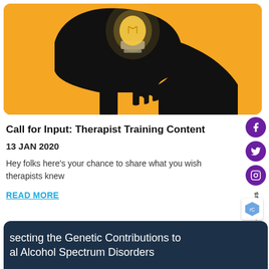[Figure (illustration): Orange background with black silhouette of a human head in profile facing left, with a glowing lightbulb emerging from the top of the head]
Call for Input: Therapist Training Content
13 JAN 2020
Hey folks here's your chance to share what you wish therapists knew
READ MORE
[Figure (screenshot): Dark navy card partially visible at bottom showing text: 'secting the Genetic Contributions to al Alcohol Spectrum Disorders']